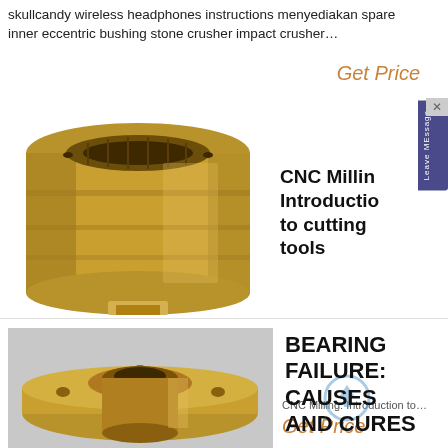skullcandy wireless headphones instructions menyediakan spare inner eccentric bushing stone crusher impact crusher…
Get Price
[Figure (photo): Photo of a gold/brass colored cylindrical inner eccentric bushing part for a stone crusher, showing threaded interior and machined exterior surface]
CNC Milling: Introduction to cutting tools
CNC Milling: Introduction to...
Get Price
[Figure (photo): Photo of a gold/brass flanged bushing or bearing sleeve with a circular flange, placed on a grey surface]
BEARING FAILURE: CAUSES AND CURES